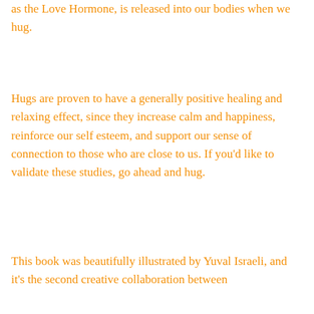as the Love Hormone, is released into our bodies when we hug.
Hugs are proven to have a generally positive healing and relaxing effect, since they increase calm and happiness, reinforce our self esteem, and support our sense of connection to those who are close to us. If you'd like to validate these studies, go ahead and hug.
This book was beautifully illustrated by Yuval Israeli, and it's the second creative collaboration between